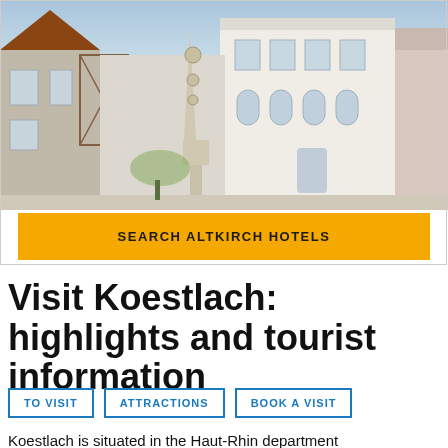[Figure (photo): Street view of Altkirch town center showing historic European buildings, a Gothic monument/fountain, and a white Baroque-style building]
SEARCH ALTKIRCH HOTELS
Visit Koestlach: highlights and tourist information
TO VISIT
ATTRACTIONS
BOOK A VISIT
Koestlach is situated in the Haut-Rhin department